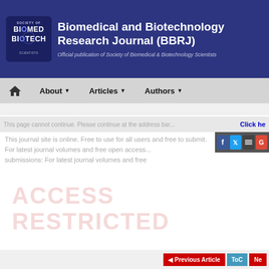[Figure (logo): Biomedical and Biotechnology Research Journal (BBRJ) logo with Society of Biomed Biotech scientists emblem]
Biomedical and Biotechnology Research Journal (BBRJ)
Official publication of Society of Biomedical & Biotechnology Scientists
Home | About | Articles | Authors
This journal page continues. Please continue to the full text.
Click here
This journal site is online. Free to use for all users and free to submit. For latest journal volumes and free open access...
[Figure (screenshot): ACCESS RESTRICTED watermark overlay]
Previous Article | ToC | Ne...